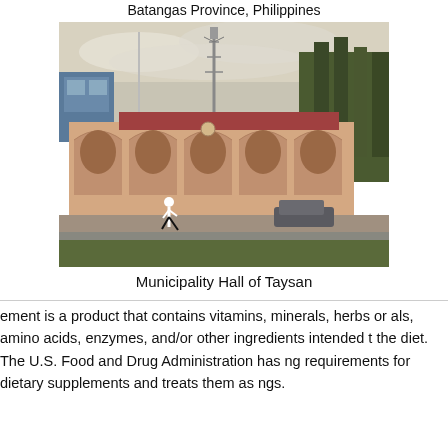Batangas Province, Philippines
[Figure (photo): Photograph of the Municipality Hall of Taysan, showing a low colonial-style building with arched facade, a telecommunications tower, trees, and a person walking in front on a cloudy day.]
Municipality Hall of Taysan
ement is a product that contains vitamins, minerals, herbs or als, amino acids, enzymes, and/or other ingredients intended t the diet. The U.S. Food and Drug Administration has ng requirements for dietary supplements and treats them as ngs.